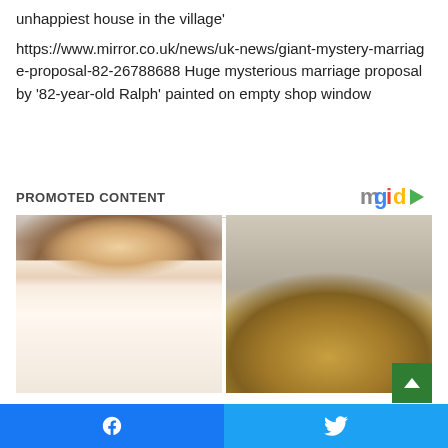unhappiest house in the village'
https://www.mirror.co.uk/news/uk-news/giant-mystery-marriage-proposal-82-26788688 Huge mysterious marriage proposal by '82-year-old Ralph' painted on empty shop window
PROMOTED CONTENT
[Figure (photo): Two side-by-side promotional images: left shows a blonde woman in a white top, right shows a pile of golden-brown powder or spice]
Facebook share button | Twitter share button